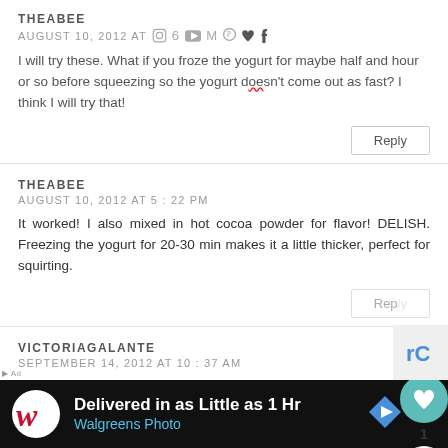THEABEE
AUGUST 10, 2012 AT [icons] 6 M [pinterest] [heart] f
I will try these. What if you froze the yogurt for maybe half and hour or so before squeezing so the yogurt doesn't come out as fast? I think I will try that!
Reply
THEABEE
AUGUST 10, 2012 AT 5:22 PM
It worked! I also mixed in hot cocoa powder for flavor! DELISH. Freezing the yogurt for 20-30 min makes it a little thicker, perfect for squirting.
Reply
VICTORIAGALANTE
SEPTEMBER 14, 2012 AT 10:37 AM
Also saw this on pinterest and saved it on my "ideas worth tr...
Delivered in as Little as 1 Hr
Walgreens Photo